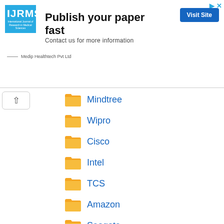[Figure (screenshot): IJRMS journal ad banner with logo, 'Publish your paper fast' heading, 'Contact us for more information' subtext, 'Visit Site' button, and Medip Healthtech Pvt Ltd publisher name]
Mindtree
Wipro
Cisco
Intel
TCS
Amazon
Seagate
Apple
ON Semiconductor